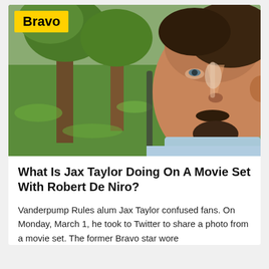[Figure (photo): Man with beard and mustache sitting outdoors near trees with green lawn in background; a Bravo logo badge in yellow is overlaid in the top-left corner of the image.]
What Is Jax Taylor Doing On A Movie Set With Robert De Niro?
Vanderpump Rules alum Jax Taylor confused fans. On Monday, March 1, he took to Twitter to share a photo from a movie set. The former Bravo star wore